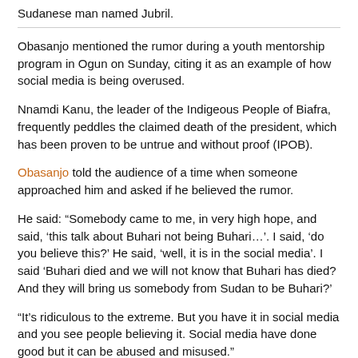Sudanese man named Jubril.
Obasanjo mentioned the rumor during a youth mentorship program in Ogun on Sunday, citing it as an example of how social media is being overused.
Nnamdi Kanu, the leader of the Indigeous People of Biafra, frequently peddles the claimed death of the president, which has been proven to be untrue and without proof (IPOB).
Obasanjo told the audience of a time when someone approached him and asked if he believed the rumor.
He said: “Somebody came to me, in very high hope, and said, ‘this talk about Buhari not being Buhari…’. I said, ‘do you believe this?’ He said, ‘well, it is in the social media’. I said ‘Buhari died and we will not know that Buhari has died? And they will bring us somebody from Sudan to be Buhari?’
“It’s ridiculous to the extreme. But you have it in social media and you see people believing it. Social media have done good but it can be abused and misused.”
The rumour is filled in part by the presidency’s refusal to disclose the